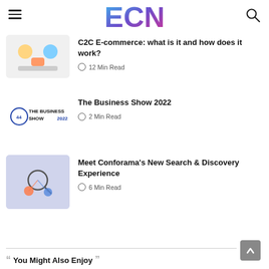ECN logo with hamburger menu and search icon
[Figure (logo): ECN logo — stylized letters E, C, N in blue-to-purple gradient]
C2C E-commerce: what is it and how does it work?
12 Min Read
The Business Show 2022
2 Min Read
Meet Conforama's New Search & Discovery Experience
6 Min Read
You Might Also Enjoy